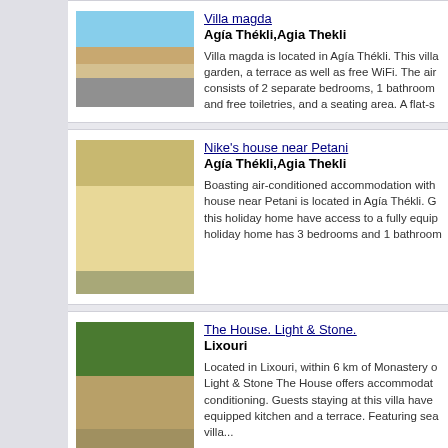[Figure (photo): Exterior photo of Villa magda showing orange-roofed house with stone wall and driveway]
Villa magda
Agía Thékli,Agia Thekli

Villa magda is located in Agía Thékli. This villa garden, a terrace as well as free WiFi. The air consists of 2 separate bedrooms, 1 bathroom and free toiletries, and a seating area. A flat-s
[Figure (photo): Exterior photo of Nike's house near Petani showing yellow building with white doors and outdoor seating]
Nike's house near Petani
Agía Thékli,Agia Thekli

Boasting air-conditioned accommodation with house near Petani is located in Agía Thékli. G this holiday home have access to a fully equip holiday home has 3 bedrooms and 1 bathroom
[Figure (photo): Exterior photo of The House. Light & Stone. showing stone building with trees and turquoise shutters]
The House. Light & Stone.
Lixouri

Located in Lixouri, within 6 km of Monastery o Light & Stone The House offers accommodat conditioning. Guests staying at this villa have equipped kitchen and a terrace. Featuring sea villa...